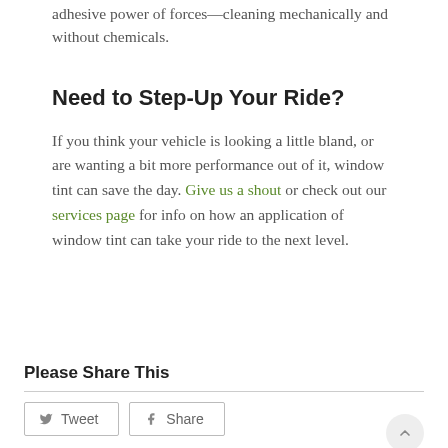adhesive power of forces—cleaning mechanically and without chemicals.
Need to Step-Up Your Ride?
If you think your vehicle is looking a little bland, or are wanting a bit more performance out of it, window tint can save the day. Give us a shout or check out our services page for info on how an application of window tint can take your ride to the next level.
Please Share This
Tweet  Share